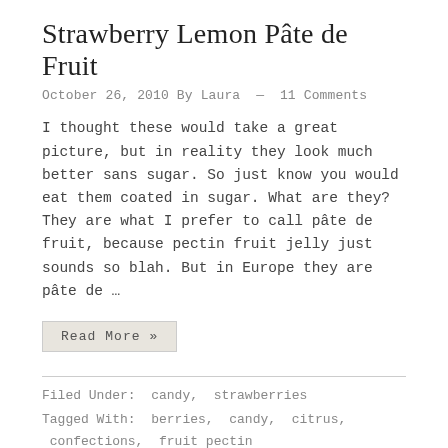Strawberry Lemon Pâte de Fruit
October 26, 2010 By Laura — 11 Comments
I thought these would take a great picture, but in reality they look much better sans sugar. So just know you would eat them coated in sugar. What are they? They are what I prefer to call pâte de fruit, because pectin fruit jelly just sounds so blah. But in Europe they are pâte de …
Read More »
Filed Under: candy, strawberries
Tagged With: berries, candy, citrus, confections, fruit pectin jelly, lemon, Pâte de Fruit, strawberry
Pumpkin Pie Marshmallows
October 1, 2010 By Laura — 8 Comments